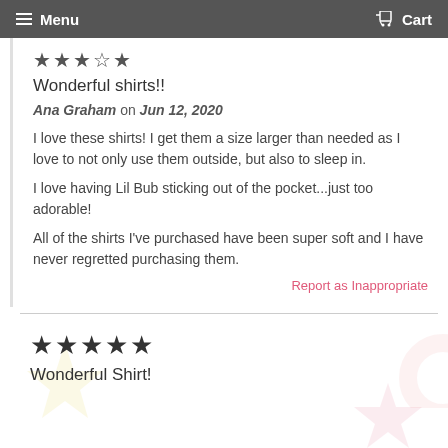Menu  Cart
★★★☆★
Wonderful shirts!!
Ana Graham on Jun 12, 2020
I love these shirts! I get them a size larger than needed as I love to not only use them outside, but also to sleep in.
I love having Lil Bub sticking out of the pocket...just too adorable!
All of the shirts I've purchased have been super soft and I have never regretted purchasing them.
Report as Inappropriate
★★★★★
Wonderful Shirt!